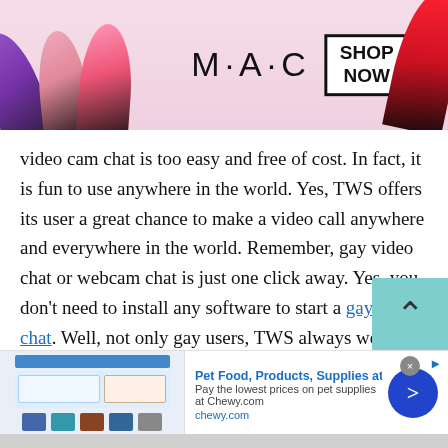[Figure (photo): MAC cosmetics banner advertisement with lipsticks in purple, pink, red colors. MAC logo in center with 'SHOP NOW' button in a box on the right.]
video cam chat is too easy and free of cost. In fact, it is fun to use anywhere in the world. Yes, TWS offers its user a great chance to make a video call anywhere and everywhere in the world. Remember, gay video chat or webcam chat is just one click away. Yes, you don't need to install any software to start a gay video chat. Well, not only gay users, TWS always welcome teen boys, girls, male and female strangers, lesbians or everyone on this free online chat.
[Figure (screenshot): Bottom advertisement for Chewy.com: 'Pet Food, Products, Supplies at Low Prices - Pay the lowest prices on pet supplies at Chewy.com' with a blue arrow button and product images.]